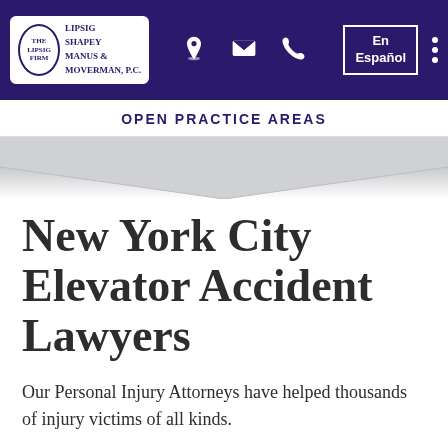[Figure (logo): The Lipsig Firm logo with Lipsig Shapey Manus & Moverman P.C. text in a dark purple navigation bar with location, email, phone icons, En Español button, and dots menu]
OPEN PRACTICE AREAS
New York City Elevator Accident Lawyers
Our Personal Injury Attorneys have helped thousands of injury victims of all kinds.
The NYC elevator accident attorneys of Lipsig, Shapey, Manus & Moverman located in New York